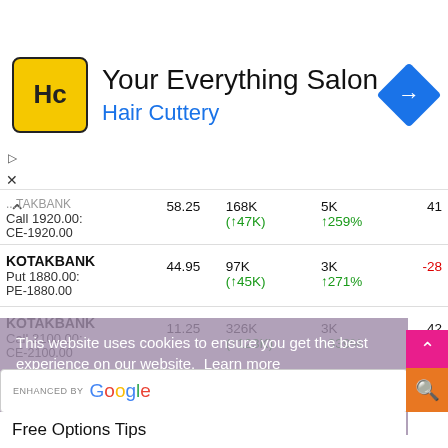[Figure (screenshot): Hair Cuttery 'Your Everything Salon' advertisement banner with yellow HC logo and blue navigation icon]
| Instrument | Price | OI | OI Chg |  |
| --- | --- | --- | --- | --- |
| KOTAKBANK
Call 1920.00:
CE-1920.00 | 58.25 | 168K
(↑47K) | 5K
↑259% | 41 |
| KOTAKBANK
Put 1880.00:
PE-1880.00 | 44.95 | 97K
(↑45K) | 3K
↑271% | -28 |
| KOTAKBANK
Call 2100.00:
CE-2100.00 | 11.25 | 326K
(↑123K) | 3K
↑339% | 42 |
This website uses cookies to ensure you get the best experience on our website. Learn more
Got it!
ENHANCED BY Google
Free Options Tips